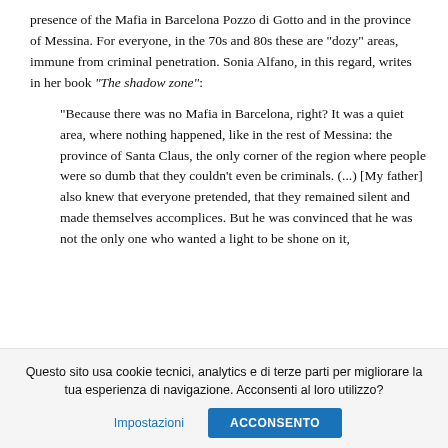presence of the Mafia in Barcelona Pozzo di Gotto and in the province of Messina. For everyone, in the 70s and 80s these are "dozy" areas, immune from criminal penetration. Sonia Alfano, in this regard, writes in her book "The shadow zone":
"Because there was no Mafia in Barcelona, right? It was a quiet area, where nothing happened, like in the rest of Messina: the province of Santa Claus, the only corner of the region where people were so dumb that they couldn't even be criminals. (...) [My father] also knew that everyone pretended, that they remained silent and made themselves accomplices. But he was convinced that he was not the only one who wanted a light to be shone on it,
Questo sito usa cookie tecnici, analytics e di terze parti per migliorare la tua esperienza di navigazione. Acconsenti al loro utilizzo?